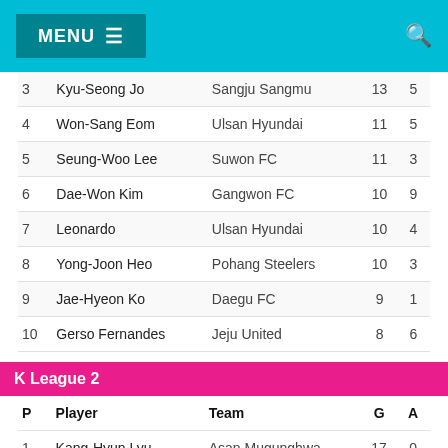MENU ☰
| P | Player | Team | G | A |
| --- | --- | --- | --- | --- |
| 3 | Kyu-Seong Jo | Sangju Sangmu | 13 | 5 |
| 4 | Won-Sang Eom | Ulsan Hyundai | 11 | 5 |
| 5 | Seung-Woo Lee | Suwon FC | 11 | 3 |
| 6 | Dae-Won Kim | Gangwon FC | 10 | 9 |
| 7 | Leonardo | Ulsan Hyundai | 10 | 4 |
| 8 | Yong-Joon Heo | Pohang Steelers | 10 | 3 |
| 9 | Jae-Hyeon Ko | Daegu FC | 9 | 1 |
| 10 | Gerso Fernandes | Jeju United | 8 | 6 |
K League 2
| P | Player | Team | G | A |
| --- | --- | --- | --- | --- |
| 1 | Kang-Hyun Lyu | Asan Mugunghwa | 17 | 0 |
| 2 | Tiago Orobo | Gyeongnam FC | 17 | 0 |
| 3 | Reis | Gwangju FC | 12 | 0 |
| 4 | Willyan | Daejeon Citizen | 12 | 0 |
| 5 | Seok-Yong Son | Gimpo Citizen | 10 | 0 |